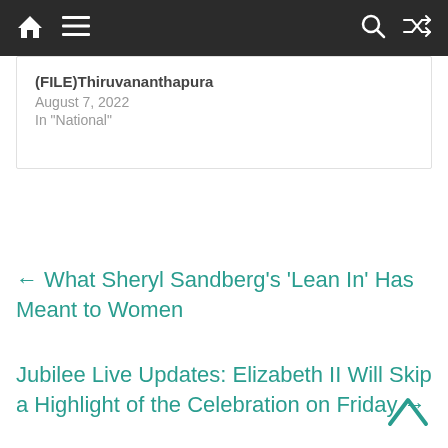Navigation bar with home, menu, search, and shuffle icons
(FILE)Thiruvananthapura
August 7, 2022
In "National"
← What Sheryl Sandberg's 'Lean In' Has Meant to Women
Jubilee Live Updates: Elizabeth II Will Skip a Highlight of the Celebration on Friday →